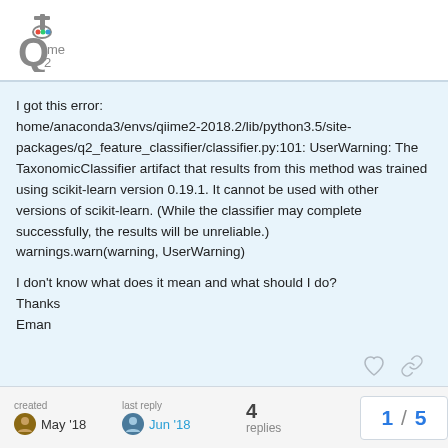[Figure (logo): QIIME 2 logo — stylized Q with microscope/flask icon above it]
I got this error: home/anaconda3/envs/qiime2-2018.2/lib/python3.5/site-packages/q2_feature_classifier/classifier.py:101: UserWarning: The TaxonomicClassifier artifact that results from this method was trained using scikit-learn version 0.19.1. It cannot be used with other versions of scikit-learn. (While the classifier may complete successfully, the results will be unreliable.) warnings.warn(warning, UserWarning)

I don't know what does it mean and what should I do?
Thanks
Eman
created May '18   last reply Jun '18   4 replies   1 / 5